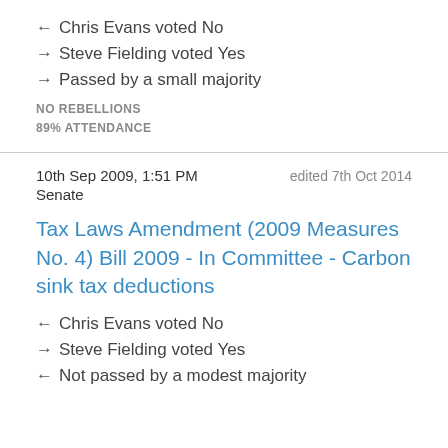← Chris Evans voted No
→ Steve Fielding voted Yes
→ Passed by a small majority
NO REBELLIONS
89% ATTENDANCE
10th Sep 2009, 1:51 PM   edited 7th Oct 2014
Senate
Tax Laws Amendment (2009 Measures No. 4) Bill 2009 - In Committee - Carbon sink tax deductions
← Chris Evans voted No
→ Steve Fielding voted Yes
← Not passed by a modest majority